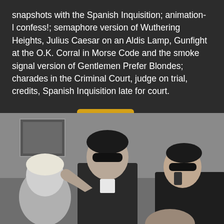snapshots with the Spanish Inquisition; animation- l confess!; semaphore version of Wuthering Heights, Julius Caesar on an Aldis Lamp, Gunfight at the O.K. Corral in Morse Code and the smoke signal version of Gentlemen Prefer Blondes; charades in the Criminal Court, judge on trial, credits, Spanish Inquisition late for court.
Watch Now: Amazon
[Figure (photo): Black and white style photo of two men wearing dark sunglasses and dark clothing, appearing to be from a television show. One man is gesturing with his hand. They are indoors with framed pictures visible on the wall behind them.]